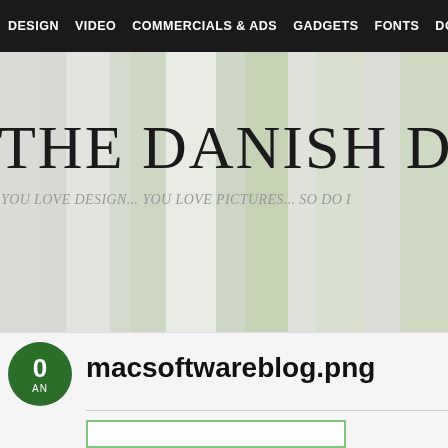DESIGN   VIDEO   COMMERCIALS & ADS   GADGETS   FONTS   DOWNLOADS
THE DANISH DESIG
YOU LOVE DESIGN... YOU LOVE PICTURES... SO DO I
[Figure (illustration): Vertical striped banner background in greens and grays]
10
JAN
macsoftwareblog.png
[Figure (screenshot): Partial screenshot thumbnail with green border]